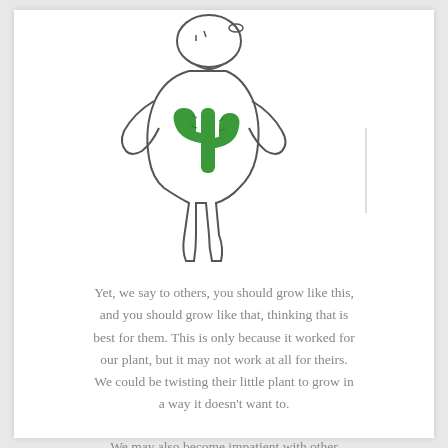[Figure (illustration): A childlike hand-drawn outline of a person/figure with a green cactus growing from its torso/chest area. A thin vertical line appears to the right of the figure. The drawing is simple, sketch-like, with the cactus rendered in solid green.]
Yet, we say to others, you should grow like this, and you should grow like that, thinking that is best for them. This is only because it worked for our plant, but it may not work at all for theirs. We could be twisting their little plant to grow in a way it doesn't want to.
We may also become impatient with other people's growth process, demanding that they grow faster, that they act now. But no matter